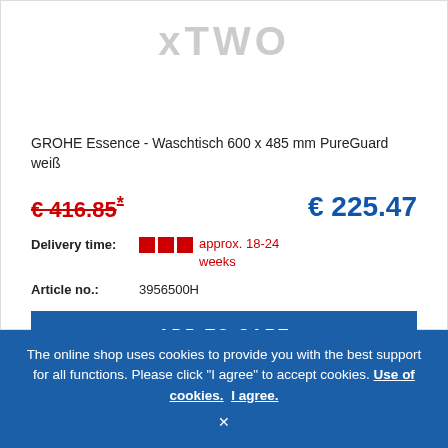[Figure (logo): xTWO logo in grey text]
GROHE Essence - Waschtisch 600 x 485 mm PureGuard weiß
€ 416.85* (crossed out, old price in red) / € 225.47 (new price in blue)
Delivery time: approx. 18-24 weeks
Article no.: 3956500H
ADD TO CART
The online shop uses cookies to provide you with the best support for all functions. Please click "I agree" to accept cookies. Use of cookies. I agree.